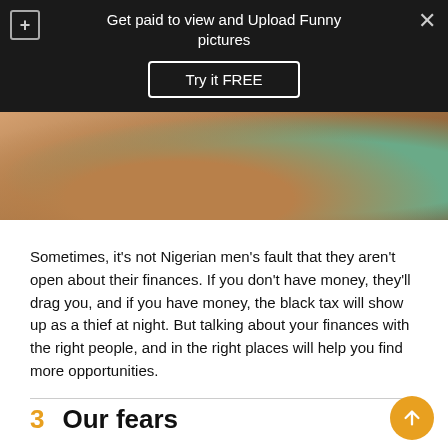[Figure (screenshot): Ad overlay bar on dark background with plus icon, close icon, text 'Get paid to view and Upload Funny pictures' and a 'Try it FREE' button]
[Figure (photo): Cropped photo showing top of a person's head and shoulders, partial face visible]
Sometimes, it's not Nigerian men's fault that they aren't open about their finances. If you don't have money, they'll drag you, and if you have money, the black tax will show up as a thief at night. But talking about your finances with the right people, and in the right places will help you find more opportunities.
3   Our fears